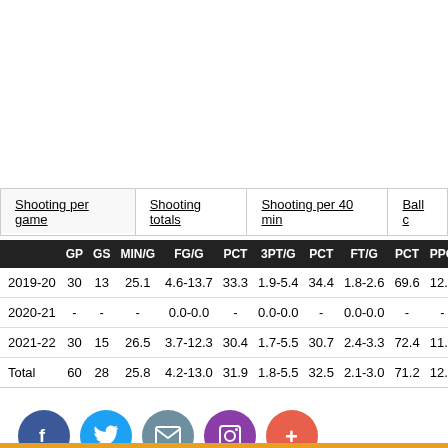|  | GP | GS | MIN/G | FG/G | PCT | 3PT/G | PCT | FT/G | PCT | PPG |
| --- | --- | --- | --- | --- | --- | --- | --- | --- | --- | --- |
| 2019-20 | 30 | 13 | 25.1 | 4.6-13.7 | 33.3 | 1.9-5.4 | 34.4 | 1.8-2.6 | 69.6 | 12.8 |
| 2020-21 | - | - | - | 0.0-0.0 | - | 0.0-0.0 | - | 0.0-0.0 | - | - |
| 2021-22 | 30 | 15 | 26.5 | 3.7-12.3 | 30.4 | 1.7-5.5 | 30.7 | 2.4-3.3 | 72.4 | 11.5 |
| Total | 60 | 28 | 25.8 | 4.2-13.0 | 31.9 | 1.8-5.5 | 32.5 | 2.1-3.0 | 71.2 | 12.2 |